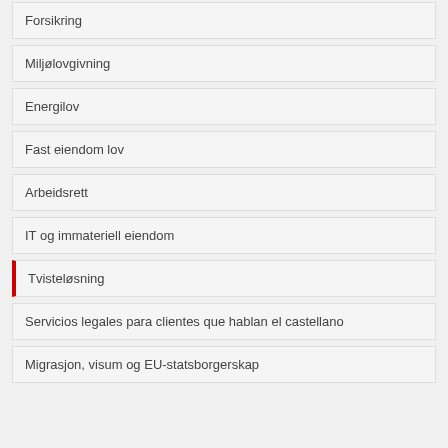Forsikring
Miljølovgivning
Energilov
Fast eiendom lov
Arbeidsrett
IT og immateriell eiendom
Tvisteløsning
Servicios legales para clientes que hablan el castellano
Migrasjon, visum og EU-statsborgerskap
Dispute Resolution